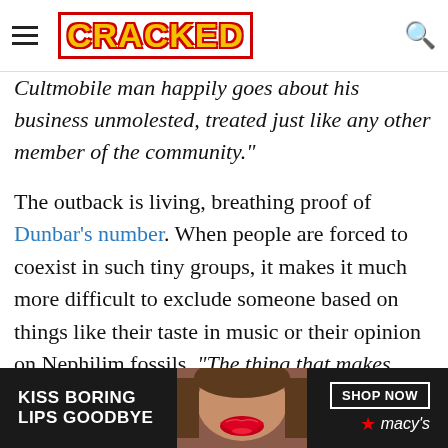CRACKED
Cultmobile man happily goes about his business unmolested, treated just like any other member of the community."
The outback is living, breathing proof of Dunbar's number. When people are forced to coexist in such tiny groups, it makes it much more difficult to exclude someone based on things like their taste in music or their opinion on Nephilim fossils. "The thing that makes outback Australia so great isn't the spellbinding sunsets or landscapes; it's the weirdos."
[Figure (photo): Advertisement banner: 'KISS BORING LIPS GOODBYE' with a woman's face featuring red lipstick, and a 'SHOP NOW' button with the Macy's logo]